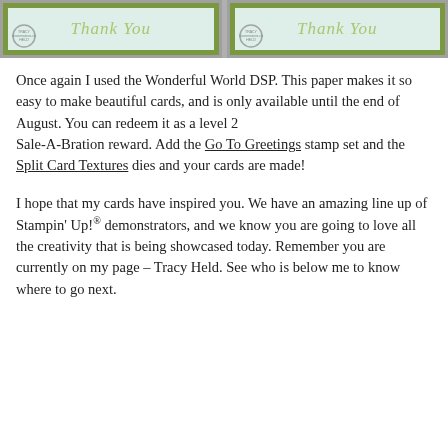[Figure (photo): Two handmade 'Thank You' greeting cards side by side, each with a light blue/green background, olive green border, and cursive 'Thank You' text. A circular stamp mark with 'Tracy Held' is visible on each card. Cards are displayed on a rustic wood surface.]
Once again I used the Wonderful World DSP. This paper makes it so easy to make beautiful cards, and is only available until the end of August. You can redeem it as a level 2
Sale-A-Bration reward. Add the Go To Greetings stamp set and the Split Card Textures dies and your cards are made!
I hope that my cards have inspired you. We have an amazing line up of Stampin' Up!® demonstrators, and we know you are going to love all the creativity that is being showcased today. Remember you are currently on my page – Tracy Held. See who is below me to know where to go next.